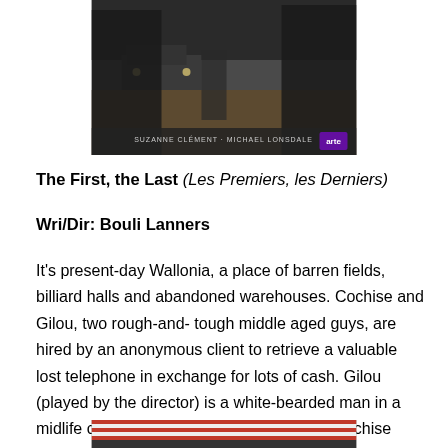[Figure (photo): Movie poster for 'The First, the Last' (Les Premiers, les Derniers) showing two figures in a dark outdoor setting with text 'SUZANNE CLEMENT · MICHAEL LONSDALE' visible at the bottom of the poster.]
The First, the Last (Les Premiers, les Derniers)
Wri/Dir: Bouli Lanners
It's present-day Wallonia, a place of barren fields, billiard halls and abandoned warehouses. Cochise and Gilou, two rough-and- tough middle aged guys, are hired by an anonymous client to retrieve a valuable lost telephone in exchange for lots of cash. Gilou (played by the director) is a white-bearded man in a midlife crisis, who thinks he's dying, while Cochise (Albert Dupontel) is a moustached heavy in a leather jacket, always ready to fight but looking
[Figure (photo): Partial bottom image, cropped, showing what appears to be a scene from the film.]